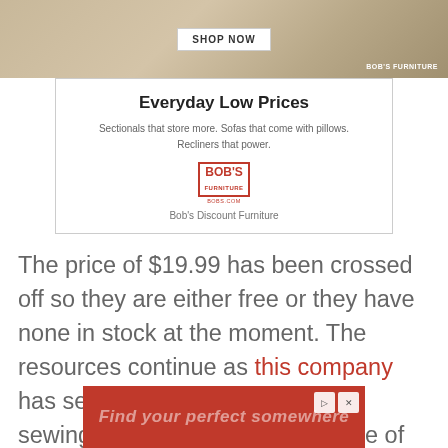[Figure (photo): Bob's Discount Furniture advertisement banner with furniture photo, SHOP NOW button, and Bob's Furniture logo]
Everyday Low Prices
Sectionals that store more. Sofas that come with pillows. Recliners that power.
Bob's Discount Furniture
The price of $19.99 has been crossed off so they are either free or they have none in stock at the moment. The resources continue as this company has several manuals for Janome sewing machines. We are not sure of the prices and that is because we may be too afraid to find out.
[Figure (screenshot): Bottom advertisement banner with red background and 'Find your perfect somewhere' text]